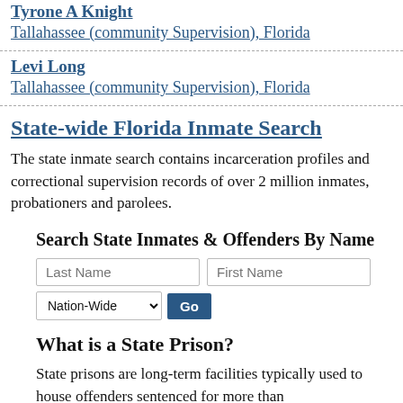Tyrone A Knight
Tallahassee (community Supervision), Florida
Levi Long
Tallahassee (community Supervision), Florida
State-wide Florida Inmate Search
The state inmate search contains incarceration profiles and correctional supervision records of over 2 million inmates, probationers and parolees.
Search State Inmates & Offenders By Name
What is a State Prison?
State prisons are long-term facilities typically used to house offenders sentenced for more than